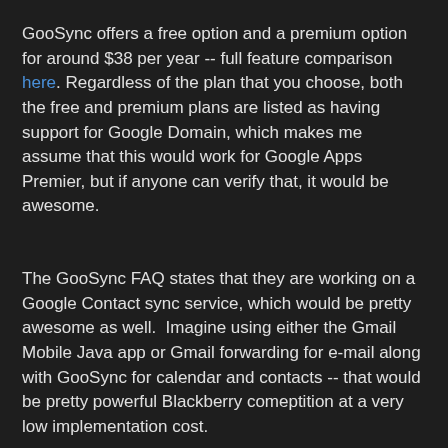GooSync offers a free option and a premium option for around $38 per year -- full feature comparison here. Regardless of the plan that you choose, both the free and premium plans are listed as having support for Google Domain, which makes me assume that this would work for Google Apps Premier, but if anyone can verify that, it would be awesome.
The GooSync FAQ states that they are working on a Google Contact sync service, which would be pretty awesome as well.  Imagine using either the Gmail Mobile Java app or Gmail forwarding for e-mail along with GooSync for calendar and contacts -- that would be pretty powerful Blackberry comeptition at a very low implementation cost.
As with a lot of these services that run your information